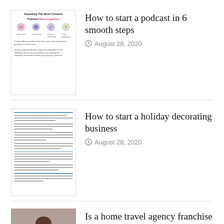[Figure (illustration): Thumbnail image for podcast article showing a document page with title 'Dispelling The Most Common Podcast Misconceptions' with icons]
How to start a podcast in 6 smooth steps
August 28, 2020
[Figure (illustration): Thumbnail image showing a text document page]
How to start a holiday decorating business
August 28, 2020
[Figure (illustration): Thumbnail image showing a woman with laptop and green banner 'IS A HOME-BASED TRAVEL AGENCY FRANCHISE RIGHT FOR YOU?']
Is a home travel agency franchise right for you?
August 28, 2020